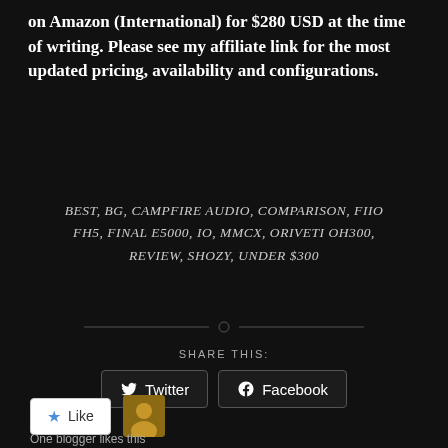on Amazon (International) for $280 USD at the time of writing. Please see my affiliate link for the most updated pricing, availability and configurations.
BEST, BG, CAMPFIRE AUDIO, COMPARISON, FIIO FH5, FINAL E5000, IO, MMCX, ORIVETI OH300, REVIEW, SHOZY, UNDER $300
SHARE THIS:
Twitter
Facebook
Like
One blogger likes this